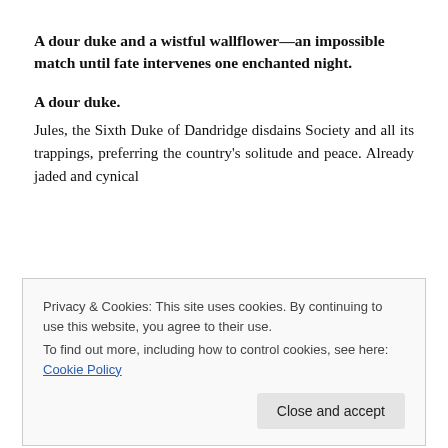A dour duke and a wistful wallflower—an impossible match until fate intervenes one enchanted night.
A dour duke.
Jules, the Sixth Duke of Dandridge disdains Society and all its trappings, preferring the country's solitude and peace. Already jaded and cynical
Privacy & Cookies: This site uses cookies. By continuing to use this website, you agree to their use.
To find out more, including how to control cookies, see here: Cookie Policy
Forever in her stunning sister's shadow, Jemmah Dament has adored